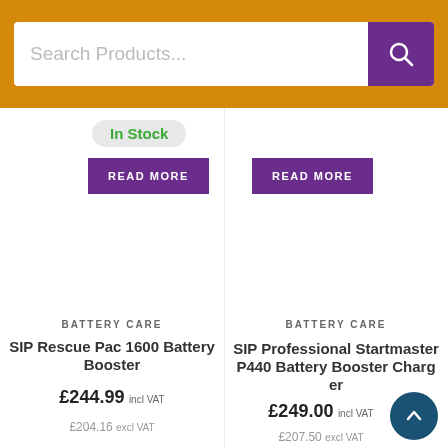Search Products...
In Stock
READ MORE
READ MORE
BATTERY CARE
SIP Rescue Pac 1600 Battery Booster
£244.99 incl VAT
£204.16 excl VAT
BATTERY CARE
SIP Professional Startmaster P440 Battery Booster Charger
£249.00 incl VAT
£207.50 excl VAT